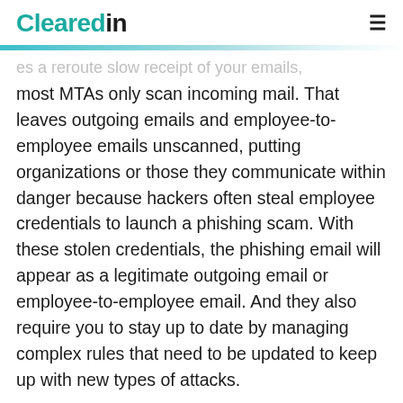Clearedin
...es a reroute slow receipt of your emails, most MTAs only scan incoming mail. That leaves outgoing emails and employee-to-employee emails unscanned, putting organizations or those they communicate within danger because hackers often steal employee credentials to launch a phishing scam. With these stolen credentials, the phishing email will appear as a legitimate outgoing email or employee-to-employee email. And they also require you to stay up to date by managing complex rules that need to be updated to keep up with new types of attacks.